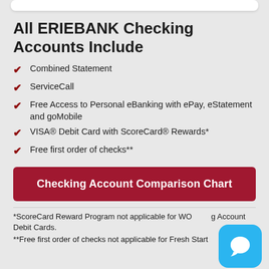All ERIEBANK Checking Accounts Include
Combined Statement
ServiceCall
Free Access to Personal eBanking with ePay, eStatement and goMobile
VISA® Debit Card with ScoreCard® Rewards*
Free first order of checks**
Checking Account Comparison Chart
*ScoreCard Reward Program not applicable for WO[rking] Account Debit Cards.
**Free first order of checks not applicable for Fresh Start